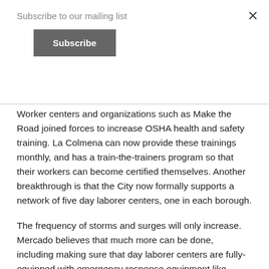Subscribe to our mailing list
Subscribe
Worker centers and organizations such as Make the Road joined forces to increase OSHA health and safety training. La Colmena can now provide these trainings monthly, and has a train-the-trainers program so that their workers can become certified themselves. Another breakthrough is that the City now formally supports a network of five day laborer centers, one in each borough.
The frequency of storms and surges will only increase. Mercado believes that much more can be done, including making sure that day laborer centers are fully-equipped with emergency response equipment like generators.